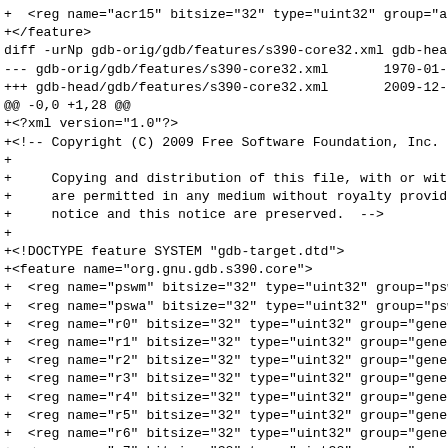+  <reg name="acr15" bitsize="32" type="uint32" group="a...
+</feature>
diff -urNp gdb-orig/gdb/features/s390-core32.xml gdb-head...
--- gdb-orig/gdb/features/s390-core32.xml       1970-01-...
+++ gdb-head/gdb/features/s390-core32.xml       2009-12-...
@@ -0,0 +1,28 @@
+<?xml version="1.0"?>
+<!-- Copyright (C) 2009 Free Software Foundation, Inc.
+
+     Copying and distribution of this file, with or with...
+     are permitted in any medium without royalty provide...
+     notice and this notice are preserved.  -->
+
+<!DOCTYPE feature SYSTEM "gdb-target.dtd">
+<feature name="org.gnu.gdb.s390.core">
+  <reg name="pswm" bitsize="32" type="uint32" group="psw...
+  <reg name="pswa" bitsize="32" type="uint32" group="psw...
+  <reg name="r0" bitsize="32" type="uint32" group="gene...
+  <reg name="r1" bitsize="32" type="uint32" group="gene...
+  <reg name="r2" bitsize="32" type="uint32" group="gene...
+  <reg name="r3" bitsize="32" type="uint32" group="gene...
+  <reg name="r4" bitsize="32" type="uint32" group="gene...
+  <reg name="r5" bitsize="32" type="uint32" group="gene...
+  <reg name="r6" bitsize="32" type="uint32" group="gene...
+  <reg name="r7" bitsize="32" type="uint32" group="gene...
+  <reg name="r8" bitsize="32" type="uint32" group="gene...
+  <reg name="r9" bitsize="32" type="uint32" group="gene...
+  <reg name="r10" bitsize="32" type="uint32" group="gene...
+  <reg name="r11" bitsize="32" type="uint32" group="gene...
+  <reg name="r12" bitsize="32" type="uint32" group="gene...